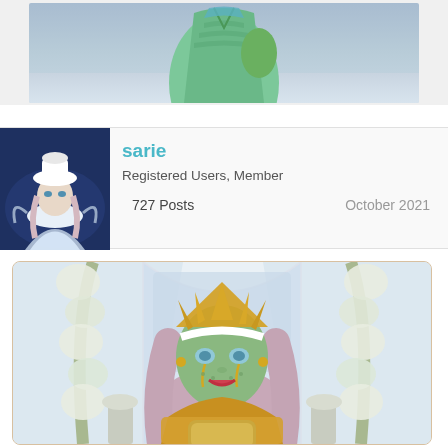[Figure (illustration): Top portion of a fantasy/game avatar illustration showing a character in a green scaled dress with a winter snowy background]
[Figure (photo): User avatar thumbnail showing a fantasy female character in white winter outfit against dark blue background]
sarie
Registered Users, Member
727 Posts
October 2021
[Figure (illustration): Fantasy game avatar illustration of a green-skinned female character wearing a golden sun crown headpiece, with pink hair, crying golden tears, wearing a gold glittery outfit, standing in a floral arch wedding venue with white flowers]